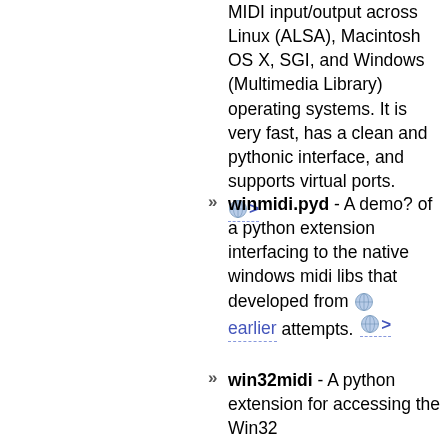MIDI input/output across Linux (ALSA), Macintosh OS X, SGI, and Windows (Multimedia Library) operating systems. It is very fast, has a clean and pythonic interface, and supports virtual ports.
winmidi.pyd - A demo? of a python extension interfacing to the native windows midi libs that developed from [link] earlier attempts. [link] >
win32midi - A python extension for accessing the Win32